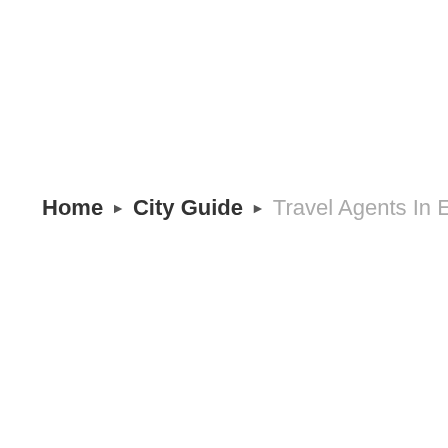Home ▶ City Guide ▶ Travel Agents In Etawah